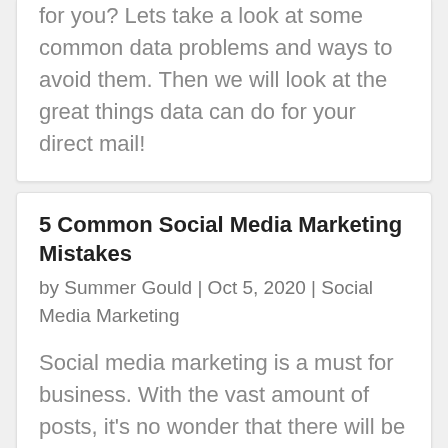for you? Lets take a look at some common data problems and ways to avoid them. Then we will look at the great things data can do for your direct mail!
5 Common Social Media Marketing Mistakes
by Summer Gould | Oct 5, 2020 | Social Media Marketing
Social media marketing is a must for business. With the vast amount of posts, it's no wonder that there will be mistakes. You can cut down on their impact by knowing what others have done wrong and avoiding it. So, with that